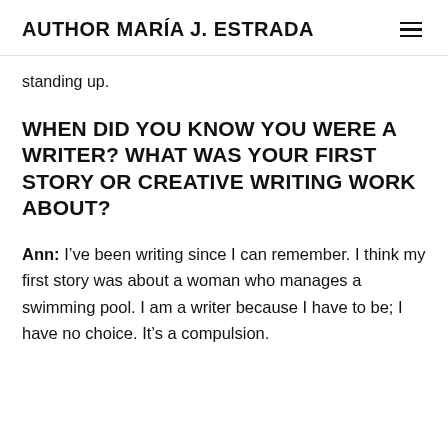AUTHOR MARÍA J. ESTRADA
standing up.
WHEN DID YOU KNOW YOU WERE A WRITER? WHAT WAS YOUR FIRST STORY OR CREATIVE WRITING WORK ABOUT?
Ann: I've been writing since I can remember. I think my first story was about a woman who manages a swimming pool. I am a writer because I have to be; I have no choice. It's a compulsion.